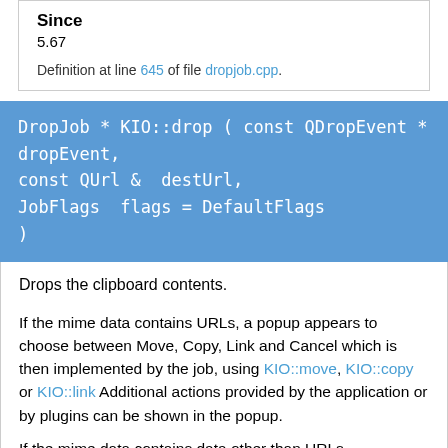Since
5.67
Definition at line 645 of file dropjob.cpp.
DropJob * KIO::drop ( const QDropEvent * dropEvent,
const QUrl &  destUrl,
JobFlags  flags = DefaultFlags
)
Drops the clipboard contents.
If the mime data contains URLs, a popup appears to choose between Move, Copy, Link and Cancel which is then implemented by the job, using KIO::move, KIO::copy or KIO::link Additional actions provided by the application or by plugins can be shown in the popup.
If the mime data contains data other than URLs, it is passed into a file, after asking the user to choose a filename and destination folder.